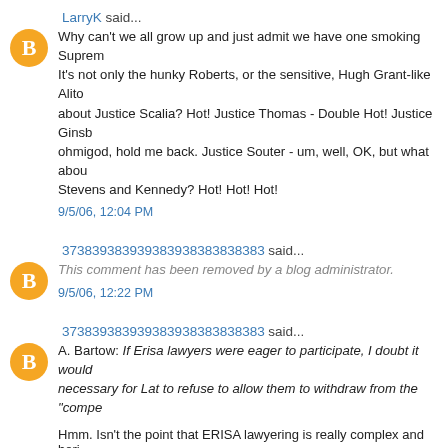LarryK said...
Why can't we all grow up and just admit we have one smoking Suprem... It's not only the hunky Roberts, or the sensitive, Hugh Grant-like Alito... about Justice Scalia? Hot! Justice Thomas - Double Hot! Justice Ginsbur... ohmigod, hold me back. Justice Souter - um, well, OK, but what abou... Stevens and Kennedy? Hot! Hot! Hot!
9/5/06, 12:04 PM
373839383939383938383 said...
This comment has been removed by a blog administrator.
9/5/06, 12:22 PM
373839383939383938383 said...
A. Bartow: If Erisa lawyers were eager to participate, I doubt it would... necessary for Lat to refuse to allow them to withdraw from the "compe...
Hmm. Isn't the point that ERISA lawyering is really complex and bori... no one really thinks anyone who gets their kicks specializing in such c...